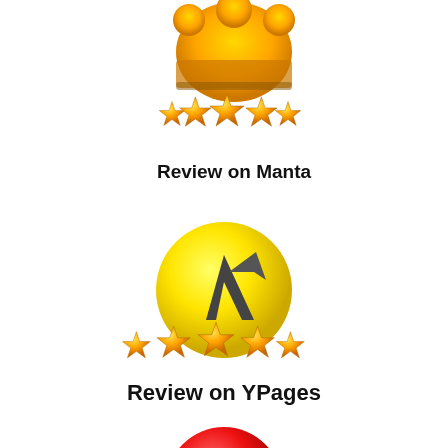[Figure (logo): Manta review badge: orange/gold crown-like logo with five gold stars and text 'Review on Manta' in bold black]
[Figure (logo): YPages review badge: yellow circular logo with a dark arrow/lambda symbol, five gold stars, and text 'Review on YPages' in bold black]
[Figure (logo): Partially visible red circular logo at the bottom of the page]